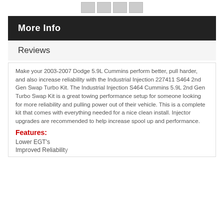[thumbnail images]
More Info
Reviews
Make your 2003-2007 Dodge 5.9L Cummins perform better, pull harder, and also increase reliability with the Industrial Injection 227411 S464 2nd Gen Swap Turbo Kit. The Industrial Injection S464 Cummins 5.9L 2nd Gen Turbo Swap Kit is a great towing performance setup for someone looking for more reliability and pulling power out of their vehicle. This is a complete kit that comes with everything needed for a nice clean install. Injector upgrades are recommended to help increase spool up and performance.
Features:
Lower EGT's
Improved Reliability